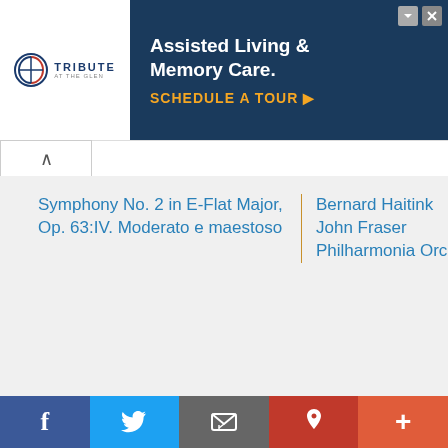[Figure (screenshot): Advertisement banner for Tribute at the Glen - Assisted Living & Memory Care with Schedule a Tour CTA]
Symphony No. 2 in E-Flat Major, Op. 63:IV. Moderato e maestoso | Bernard Haitink John Fraser Philharmonia Orchestra
Symphony No. 2 in E-Flat Major, Op. 63:I. Allegro vivace e nobilmente | Bernard Haitink John Fraser Philharmonia Orchestra